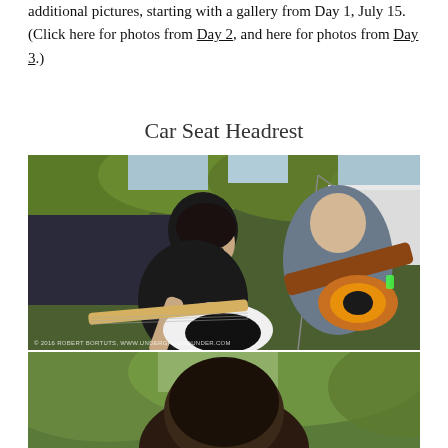additional pictures, starting with a gallery from Day 1, July 15. (Click here for photos from Day 2, and here for photos from Day 3.)
Car Seat Headrest
[Figure (photo): Two musicians performing on an outdoor stage. The lead guitarist leans forward playing a black and white electric guitar, wearing glasses and dark clothes. A second musician stands behind playing a sunburst bass guitar. A microphone stand is visible. Green trees in the background.]
[Figure (photo): Partial view of a person's head/back of head at an outdoor concert, with blurred green trees in the background.]